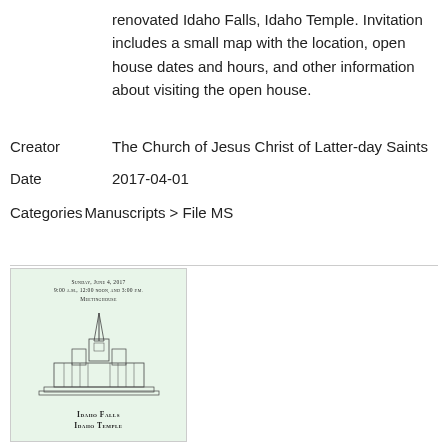renovated Idaho Falls, Idaho Temple. Invitation includes a small map with the location, open house dates and hours, and other information about visiting the open house.
Creator   The Church of Jesus Christ of Latter-day Saints
Date   2017-04-01
Categories Manuscripts > File MS
[Figure (illustration): Thumbnail image of an open house invitation for the Idaho Falls Idaho Temple, showing the temple illustration on a light green background, with text 'Sunday, June 4, 2017 9:00 a.m., 12:00 noon, and 3:00 p.m. Meetinghouse' at top and 'Idaho Falls Idaho Temple' at bottom.]